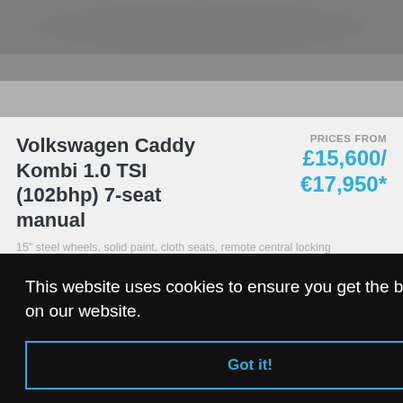[Figure (photo): Top portion of a Volkswagen vehicle photo in black and white/grayscale]
Volkswagen Caddy Kombi 1.0 TSI (102bhp) 7-seat manual
PRICES FROM £15,600/ €17,950*
15" steel wheels, solid paint, cloth seats, remote central locking
MORE INFO >
This website uses cookies to ensure you get the best experience on our website.
Got it!
[Figure (photo): Bottom portion showing another car in the background]